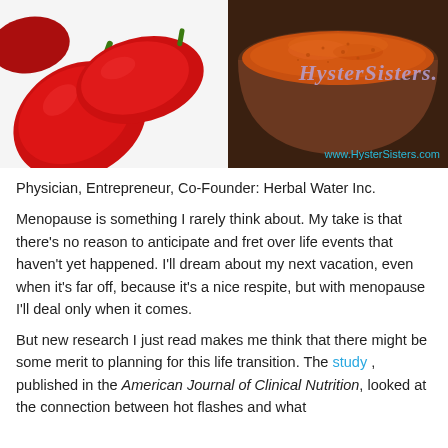[Figure (photo): Photo of red chili peppers on the left and a wooden bowl of orange spice (turmeric/chili powder) on the right, with HysterSisters watermark logo and www.HysterSisters.com URL overlay]
Physician, Entrepreneur, Co-Founder: Herbal Water Inc.
Menopause is something I rarely think about. My take is that there's no reason to anticipate and fret over life events that haven't yet happened. I'll dream about my next vacation, even when it's far off, because it's a nice respite, but with menopause I'll deal only when it comes.
But new research I just read makes me think that there might be some merit to planning for this life transition. The study , published in the American Journal of Clinical Nutrition, looked at the connection between hot flashes and what